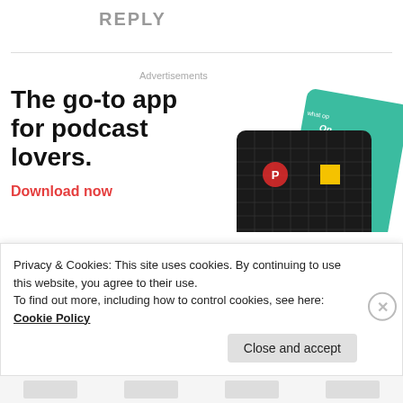REPLY
Advertisements
[Figure (illustration): Advertisement for a podcast app showing bold headline 'The go-to app for podcast lovers.' with a red 'Download now' CTA and app card images including a 99% Invisible podcast card on black grid background and a green card.]
Privacy & Cookies: This site uses cookies. By continuing to use this website, you agree to their use.
To find out more, including how to control cookies, see here:
Cookie Policy
Close and accept